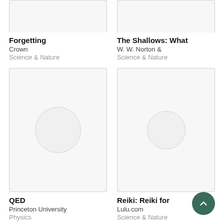[Figure (screenshot): Book cover placeholder (cropped top) for Forgetting]
Forgetting
Crown
Science & Nature
[Figure (screenshot): Book cover placeholder (cropped top) for The Shallows: What]
The Shallows: What
W. W. Norton &
Science & Nature
[Figure (screenshot): Book cover placeholder with circle icon for QED]
QED
Princeton University
Physics
[Figure (screenshot): Book cover placeholder with circle icon for Reiki: Reiki for]
Reiki: Reiki for
Lulu.com
Science & Nature